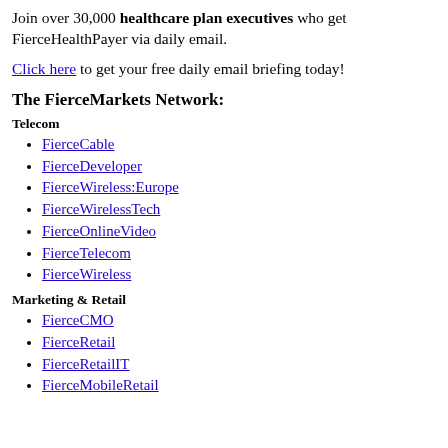Join over 30,000 healthcare plan executives who get FierceHealthPayer via daily email.
Click here to get your free daily email briefing today!
The FierceMarkets Network:
Telecom
FierceCable
FierceDeveloper
FierceWireless:Europe
FierceWirelessTech
FierceOnlineVideo
FierceTelecom
FierceWireless
Marketing & Retail
FierceCMO
FierceRetail
FierceRetailIT
FierceMobileRetail